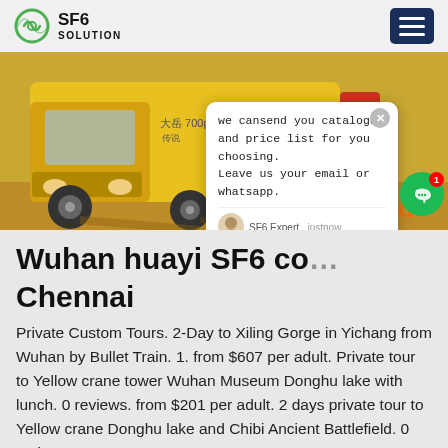SF6 SOLUTION
[Figure (photo): Yellow truck/vehicle close-up photo with partial text 'ina' visible on right side]
Wuhan huayi SF6 co… Chennai
Private Custom Tours. 2-Day to Xiling Gorge in Yichang from Wuhan by Bullet Train. 1. from $607 per adult. Private tour to Yellow crane tower Wuhan Museum Donghu lake with lunch. 0 reviews. from $201 per adult. 2 days private tour to Yellow crane Donghu lake and Chibi Ancient Battlefield. 0 reviews.